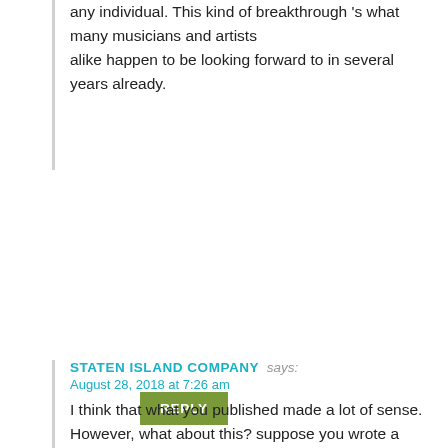any individual. This kind of breakthrough 's what many musicians and artists alike happen to be looking forward to in several years already.
REPLY
STATEN ISLAND COMPANY says:
August 28, 2018 at 7:26 am
I think that what you published made a lot of sense. However, what about this? suppose you wrote a catchier title? I mean, I don't wish to tell you how to run your blog, however suppose you added a post title that makes people desire more?
I mean Top 10 Outdoor Wedding Venues – Toronto is kinda boring. You ought to peek at Yahoo's home page and see how they create article titles to grab people to click. You might add a video or a picture or two to get people excited about everything've written. Just my opinion, it would bring your website a little livelier.